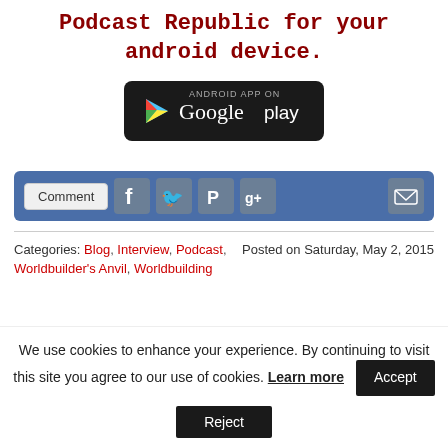Podcast Republic for your android device.
[Figure (logo): Android App on Google Play badge — black rounded rectangle with Google Play logo and text]
[Figure (other): Social share bar with Comment button, Facebook, Twitter, Pinterest, Google+, and Email icons on a blue background]
Categories: Blog, Interview, Podcast, Worldbuilder's Anvil, Worldbuilding    Posted on Saturday, May 2, 2015
We use cookies to enhance your experience. By continuing to visit this site you agree to our use of cookies. Learn more  Accept  Reject